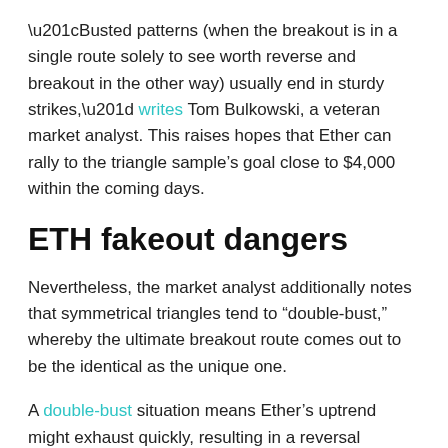“Busted patterns (when the breakout is in a single route solely to see worth reverse and breakout in the other way) usually end in sturdy strikes,” writes Tom Bulkowski, a veteran market analyst. This raises hopes that Ether can rally to the triangle sample’s goal close to $4,000 within the coming days.
ETH fakeout dangers
Nevertheless, the market analyst additionally notes that symmetrical triangles tend to “double-bust,” whereby the ultimate breakout route comes out to be the identical as the unique one.
A double-bust situation means Ether’s uptrend might exhaust quickly, resulting in a reversal towards the symmetrical triangle’s high. The draw back outlook seems as ETH retests its support-turned-resistance vary that